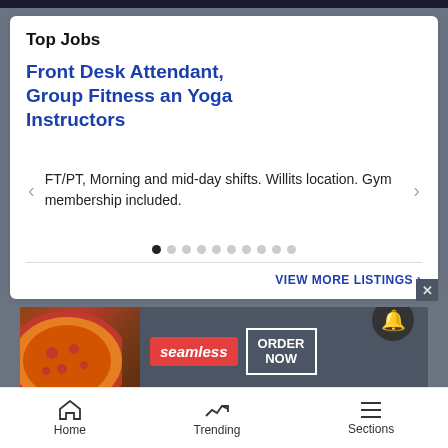Top Jobs
Front Desk Attendant, Group Fitness an Yoga Instructors
FT/PT, Morning and mid-day shifts. Willits location. Gym membership included.
VIEW MORE LISTINGS ›
[Figure (infographic): Seamless food ordering ad banner with pizza image, seamless red logo badge, and ORDER NOW button]
Home   Trending   Sections